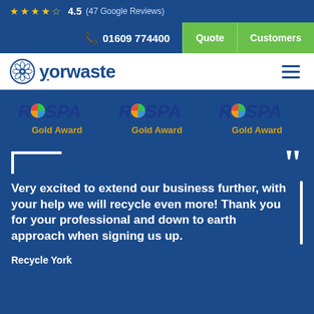★★★★½ 4.5 (47 Google Reviews)
📞 01609 774400 | Quote | Customers
[Figure (logo): Yorwaste logo with Yorkshire rose icon]
[Figure (logo): RoSPA Gold Award logo x3]
Very excited to extend our business further, with your help we will recycle even more! Thank you for your professional and down to earth approach when signing us up.
Recycle York